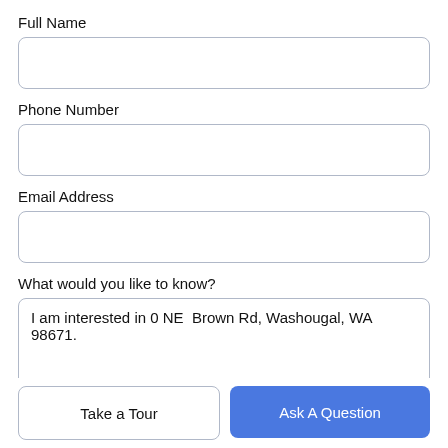Full Name
[Figure (other): Empty input field for Full Name]
Phone Number
[Figure (other): Empty input field for Phone Number]
Email Address
[Figure (other): Empty input field for Email Address]
What would you like to know?
[Figure (other): Textarea with text: I am interested in 0 NE  Brown Rd, Washougal, WA 98671.]
Take a Tour
Ask A Question